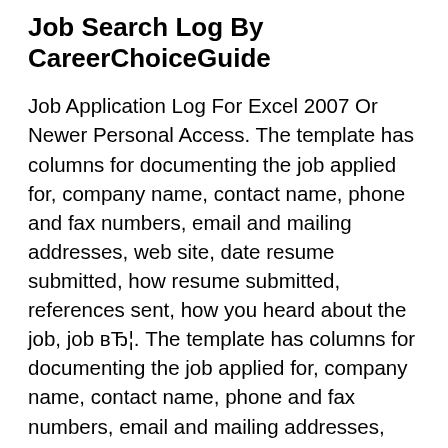Job Search Log By CareerChoiceGuide
Job Application Log For Excel 2007 Or Newer Personal Access. The template has columns for documenting the job applied for, company name, contact name, phone and fax numbers, email and mailing addresses, web site, date resume submitted, how resume submitted, references sent, how you heard about the job, job вЂ¦. The template has columns for documenting the job applied for, company name, contact name, phone and fax numbers, email and mailing addresses, web site, date resume submitted, how resume submitted, references sent, how you